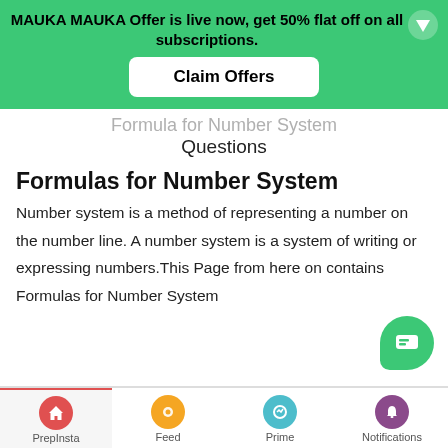MAUKA MAUKA Offer is live now, get 50% flat off on all subscriptions.
Claim Offers
Formula for Number System Questions
Formulas for Number System
Number system is a method of representing a number on the number line. A number system is a system of writing or expressing numbers.This Page from here on contains Formulas for Number System
PrepInsta | Feed | Prime | Notifications